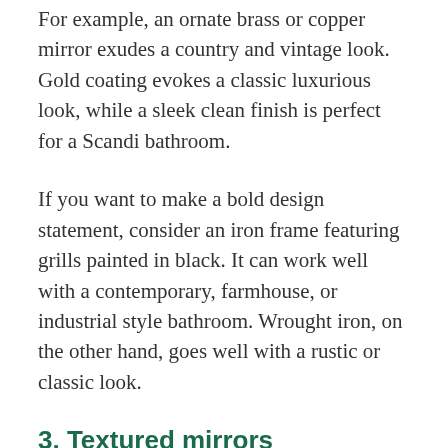For example, an ornate brass or copper mirror exudes a country and vintage look. Gold coating evokes a classic luxurious look, while a sleek clean finish is perfect for a Scandi bathroom.
If you want to make a bold design statement, consider an iron frame featuring grills painted in black. It can work well with a contemporary, farmhouse, or industrial style bathroom. Wrought iron, on the other hand, goes well with a rustic or classic look.
3. Textured mirrors
Want a tropical or bohemian vibe in your bathroom? A textured mirror can do the trick. Carved wood, rattan, wicker, or vine evoke an island resort and boho feel, and can give your bathroom an instant facelift without breaking